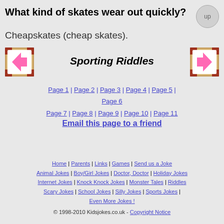A Tongue Sandwich.
What kind of skates wear out quickly?
Cheapskates (cheap skates).
[Figure (illustration): Left pink arrow navigation button with decorative border]
Sporting Riddles
[Figure (illustration): Right pink arrow navigation button with decorative border]
Page 1 | Page 2 | Page 3 | Page 4 | Page 5 | Page 6
Page 7 | Page 8 | Page 9 | Page 10 | Page 11
Email this page to a friend
Home | Parents | Links | Games | Send us a Joke | Animal Jokes | Boy/Girl Jokes | Doctor, Doctor | Holiday Jokes | Internet Jokes | Knock Knock Jokes | Monster Tales | Riddles | Scary Jokes | School Jokes | Silly Jokes | Sports Jokes | Even More Jokes !
© 1998-2010 Kidsjokes.co.uk - Copyright Notice